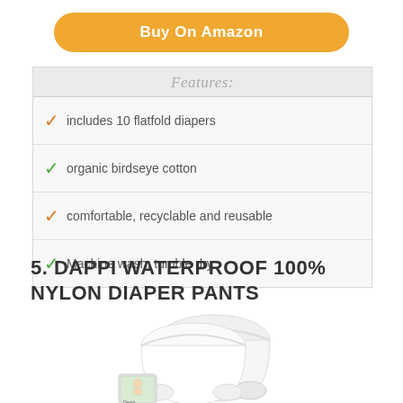Buy On Amazon
Features:
includes 10 flatfold diapers
organic birdseye cotton
comfortable, recyclable and reusable
Machine wash, tumble dry
5. DAPPI WATERPROOF 100% NYLON DIAPER PANTS
[Figure (photo): White Dappi waterproof nylon diaper pants product photo with packaging box showing a baby]